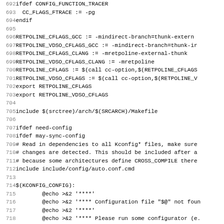[Figure (screenshot): Source code listing (Makefile/Kbuild) showing lines 692-723, monospace font, line numbers on left, code content on right. Lines include ifdef CONFIG_FUNCTION_TRACER, CC_FLAGS_FTRACE, RETPOLINE flags, include statements, and echo commands.]